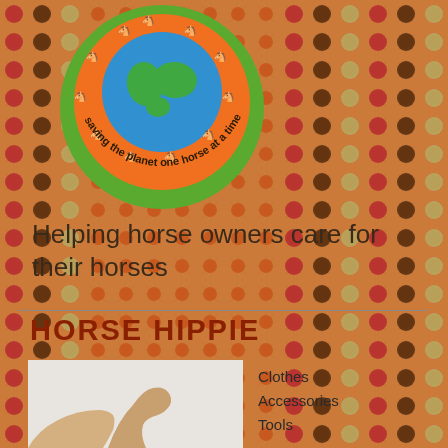[Figure (logo): Horse Hippie logo: circular badge with globe, horses around it, orange background, green outer ring, text 'saving the planet one horse at a time']
Helping horse owners care for their horses
HORSE HIPPIE
[Figure (photo): Partial photo of a horse, bottom portion of page, light background]
Clothes
Accessories
Tools